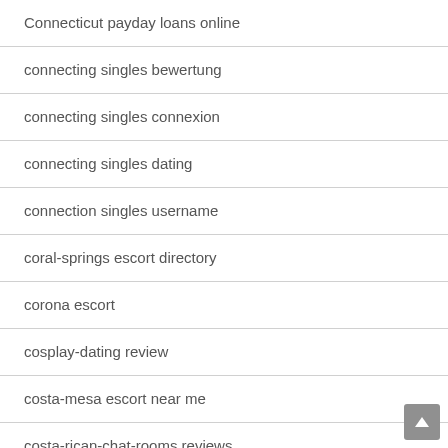Connecticut payday loans online
connecting singles bewertung
connecting singles connexion
connecting singles dating
connection singles username
coral-springs escort directory
corona escort
cosplay-dating review
costa-mesa escort near me
costa-rican-chat-rooms reviews
Cougar Dating sites
cougar life preise
cougar life web